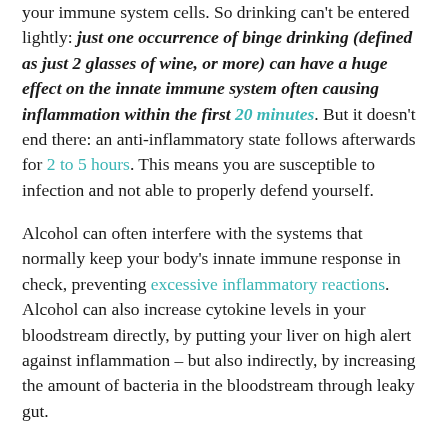your immune system cells. So drinking can't be entered lightly: just one occurrence of binge drinking (defined as just 2 glasses of wine, or more) can have a huge effect on the innate immune system often causing inflammation within the first 20 minutes. But it doesn't end there: an anti-inflammatory state follows afterwards for 2 to 5 hours. This means you are susceptible to infection and not able to properly defend yourself.
Alcohol can often interfere with the systems that normally keep your body's innate immune response in check, preventing excessive inflammatory reactions. Alcohol can also increase cytokine levels in your bloodstream directly, by putting your liver on high alert against inflammation – but also indirectly, by increasing the amount of bacteria in the bloodstream through leaky gut.
Alcohol And The Immune System Of Your Brain